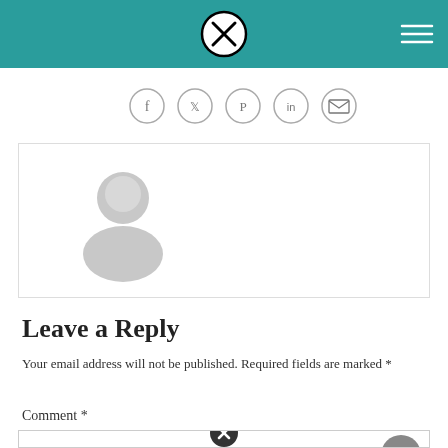[Figure (screenshot): Website header bar in teal/green color with a circled X logo in center and hamburger menu icon on the right]
[Figure (illustration): Row of five social media share icons: Facebook, Twitter, Pinterest, LinkedIn, Email — outlined circles with icons inside]
[Figure (illustration): Gray default avatar/user profile placeholder image inside a bordered box]
Leave a Reply
Your email address will not be published. Required fields are marked *
Comment *
[Figure (screenshot): Comment text input box with scroll-to-top button and X close icon]